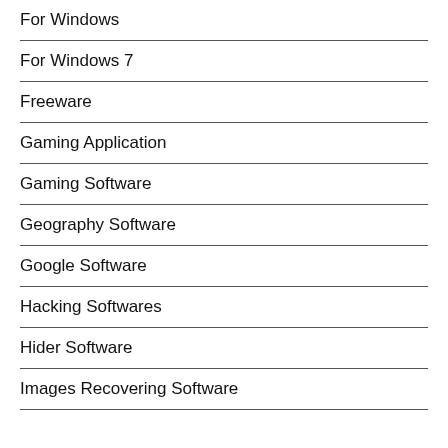For Windows
For Windows 7
Freeware
Gaming Application
Gaming Software
Geography Software
Google Software
Hacking Softwares
Hider Software
Images Recovering Software